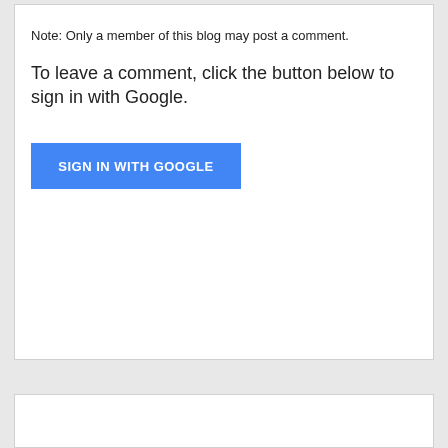Note: Only a member of this blog may post a comment.
To leave a comment, click the button below to sign in with Google.
[Figure (screenshot): Blue button labeled SIGN IN WITH GOOGLE]